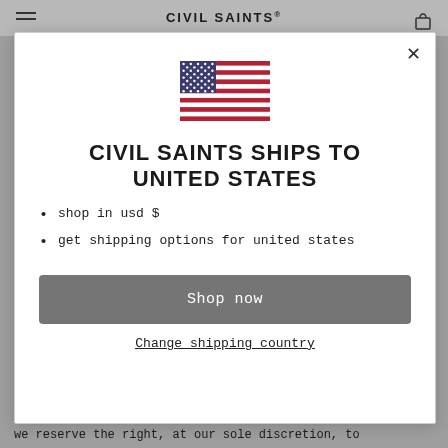CIVIL SAINTS®
[Figure (illustration): US flag emoji/icon centered in modal]
CIVIL SAINTS SHIPS TO UNITED STATES
shop in usd $
get shipping options for united states
Shop now
Change shipping country
we reserve the right, at our sole discretion, to